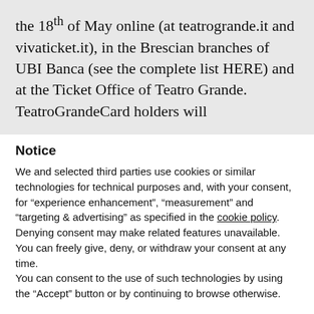the 18th of May online (at teatrogrande.it and vivaticket.it), in the Brescian branches of UBI Banca (see the complete list HERE) and at the Ticket Office of Teatro Grande. TeatroGrandeCard holders will
Notice
We and selected third parties use cookies or similar technologies for technical purposes and, with your consent, for “experience enhancement”, “measurement” and “targeting & advertising” as specified in the cookie policy. Denying consent may make related features unavailable.
You can freely give, deny, or withdraw your consent at any time.
You can consent to the use of such technologies by using the “Accept” button or by continuing to browse otherwise.
Reject
Accept
Learn more and customise